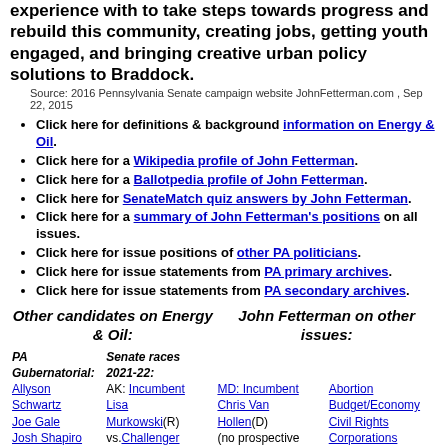experience with to take steps towards progress and rebuild this community, creating jobs, getting youth engaged, and bringing creative urban policy solutions to Braddock.
Source: 2016 Pennsylvania Senate campaign website JohnFetterman.com , Sep 22, 2015
Click here for definitions & background information on Energy & Oil.
Click here for a Wikipedia profile of John Fetterman.
Click here for a Ballotpedia profile of John Fetterman.
Click here for SenateMatch quiz answers by John Fetterman.
Click here for a summary of John Fetterman's positions on all issues.
Click here for issue positions of other PA politicians.
Click here for issue statements from PA primary archives.
Click here for issue statements from PA secondary archives.
Other candidates on Energy & Oil:
John Fetterman on other issues:
| PA Gubernatorial: | Senate races 2021-22: |  |  |
| --- | --- | --- | --- |
| Allyson Schwartz | AK: Incumbent Lisa Murkowski(R) vs.Challenger Kelly Tshibaka(R) vs.2020 | MD: Incumbent Chris Van Hollen(D) (no prospective opponents yet) MO: Incumbent Roy Blunt(R) vs.Eric Greitens(R) | Abortion Budget/Economy Civil Rights Corporations Crime Drugs Education Energy/Oil Environment |
| Joe Gale |  |  |  |
| Josh Shapiro |  |  |  |
| Ken Krawchuk |  |  |  |
| Mark Critz |  |  |  |
| Michael Nutter |  |  |  |